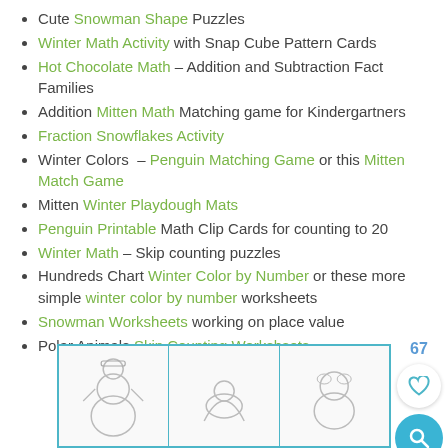Cute Snowman Shape Puzzles
Winter Math Activity with Snap Cube Pattern Cards
Hot Chocolate Math – Addition and Subtraction Fact Families
Addition Mitten Math Matching game for Kindergartners
Fraction Snowflakes Activity
Winter Colors – Penguin Matching Game or this Mitten Match Game
Mitten Winter Playdough Mats
Penguin Printable Math Clip Cards for counting to 20
Winter Math – Skip counting puzzles
Hundreds Chart Winter Color by Number or these more simple winter color by number worksheets
Snowman Worksheets working on place value
Polar Animals Skip Counting Workshsets
[Figure (illustration): Three winter-themed worksheet thumbnail images in a teal-bordered strip showing snowmen and winter characters]